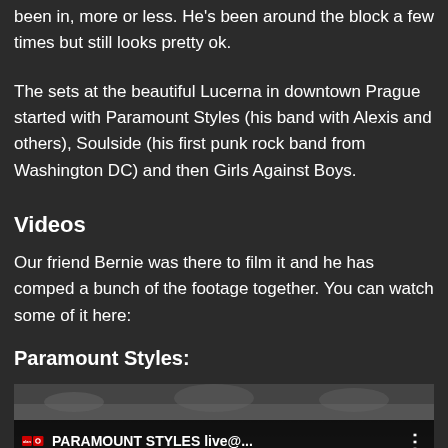been in, more or less. He's been around the block a few times but still looks pretty ok.
The sets at the beautiful Lucerna in downtown Prague started with Paramount Styles (his band with Alexis and others), Soulside (his first punk rock band from Washington DC) and then Girls Against Boys.
Videos
Our friend Bernie was there to film it and he has comped a bunch of the footage together. You can watch some of it here:
Paramount Styles:
[Figure (screenshot): YouTube video thumbnail showing 'PARAMOUNT STYLES live@...' with a person visible and the video title bar at the bottom]